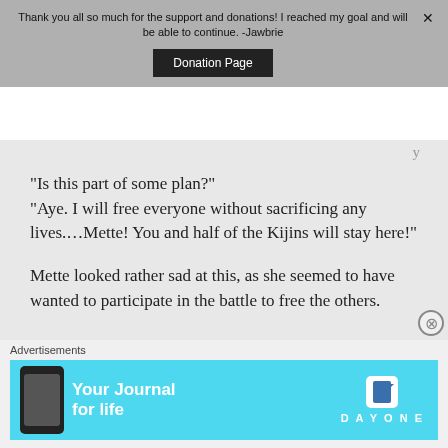Thank you all so much for the support and donations! I reached my goal and will be able to continue. -Jawbrie
Donation Page
“Is this part of some plan?” “Aye. I will free everyone without sacrificing any lives.…Mette! You and half of the Kijins will stay here!”
Mette looked rather sad at this, as she seemed to have wanted to participate in the battle to free the others.
Advertisements
[Figure (screenshot): Advertisement banner for Day One journal app with cyan background, phone image, tagline 'Your Journal for life', and Day One logo]